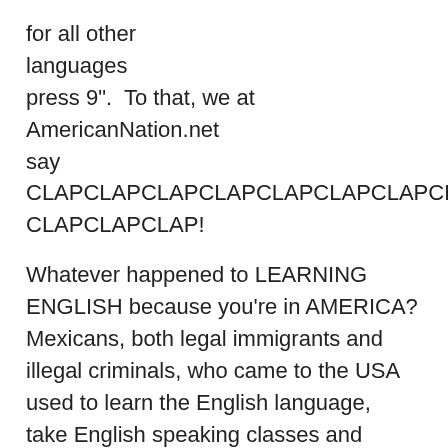for all other languages press 9".  To that, we at AmericanNation.net say CLAPCLAPCLAPCLAPCLAPCLAPCLAPCLAP CLAPCLAPCLAP!
Whatever happened to LEARNING ENGLISH because you’re in AMERICA? Mexicans, both legal immigrants and illegal criminals, who came to the USA used to learn the English language, take English speaking classes and today? Not so much. So what happened?! And why did legal immigrants stop learning English?
I’ll tell you what happened: Unhealthy and dysfunctional Liberal codependents who don’t